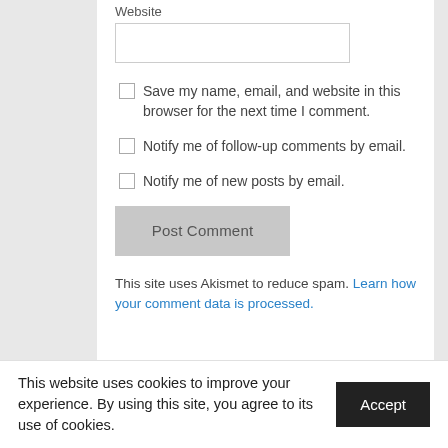Website
Save my name, email, and website in this browser for the next time I comment.
Notify me of follow-up comments by email.
Notify me of new posts by email.
Post Comment
This site uses Akismet to reduce spam. Learn how your comment data is processed.
This website uses cookies to improve your experience. By using this site, you agree to its use of cookies.